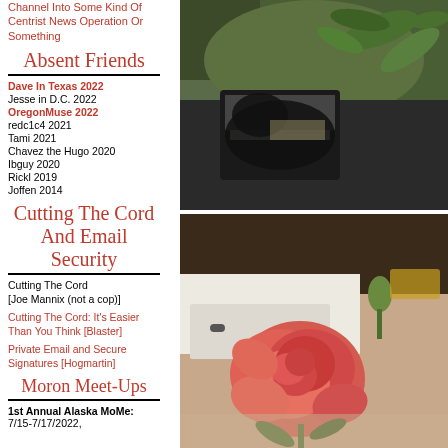Channel Into Some Kind Of Centrist News Operation Or Something
Absent Friends
Dave In Texas 2022
Jesse in D.C. 2022
OregonMuse 2022
redc1c4 2021
Tami 2021
Chavez the Hugo 2020
Ibguy 2020
Rickl 2019
Joffen 2014
Cutting The Cord And Email Security
Cutting The Cord [Joe Mannix (not a cop)]
Cutting The Cord: It's Easier Than You Think [Blaster]
Private Email and Secure Signatures [Hogmartin]
Moron Meet-Ups
1st Annual Alaska MoMe: 7/15-7/17/2022,
[Figure (photo): A black cat resting on or near green foliage/plants in sunlight]
[Figure (photo): A pink/coral peony flower in bloom with green leaves and a bud, photographed indoors near a white dresser]